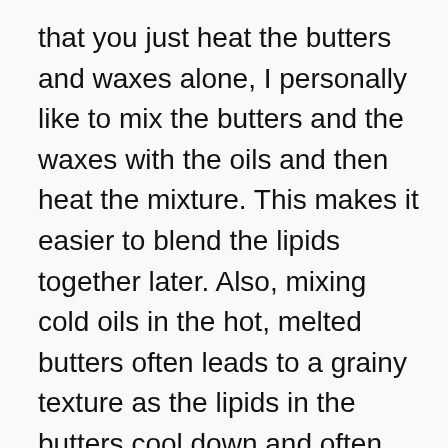that you just heat the butters and waxes alone, I personally like to mix the butters and the waxes with the oils and then heat the mixture. This makes it easier to blend the lipids together later. Also, mixing cold oils in the hot, melted butters often leads to a grainy texture as the lipids in the butters cool down and often crystallize.